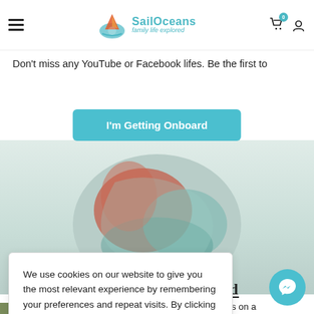SailOceans — Family life explored
Don't miss any YouTube or Facebook lifes. Be the first to
I'm Getting Onboard
[Figure (photo): Circular cropped underwater photo showing someone swimming with reddish and teal tones]
Family Life Unleashed
across oceans on a rnative way of life
We use cookies on our website to give you the most relevant experience by remembering your preferences and repeat visits. By clicking "Accept", you consent to the use of the cookies.
Accept